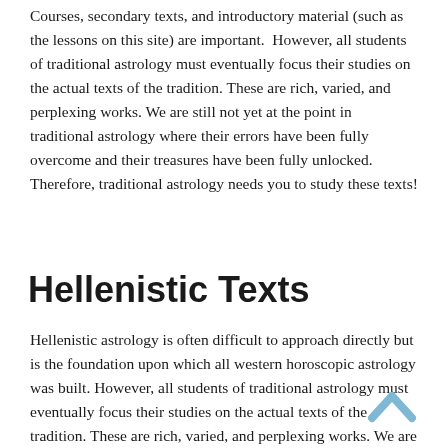Courses, secondary texts, and introductory material (such as the lessons on this site) are important.  However, all students of traditional astrology must eventually focus their studies on the actual texts of the tradition. These are rich, varied, and perplexing works. We are still not yet at the point in traditional astrology where their errors have been fully overcome and their treasures have been fully unlocked. Therefore, traditional astrology needs you to study these texts!
Hellenistic Texts
Hellenistic astrology is often difficult to approach directly but is the foundation upon which all western horoscopic astrology was built. However, all students of traditional astrology must eventually focus their studies on the actual texts of the tradition. These are rich, varied, and perplexing works. We are still not yet at the point in traditional astrology where their errors have been fully overcome and